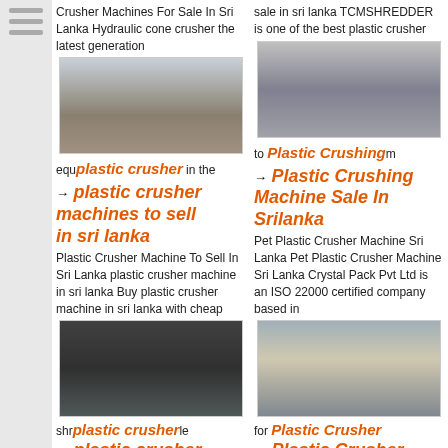Crusher Machines For Sale In Sri Lanka Hydraulic cone crusher the latest generation
[Figure (photo): Outdoor quarry/mining site with conveyor belts and open terrain]
equipment in the world
plastic crusher machines to sell in sri lanka
Plastic Crusher Machine To Sell In Sri Lanka plastic crusher machine in sri lanka Buy plastic crusher machine in sri lanka with cheap
[Figure (photo): Industrial crusher machine in a factory/workshop setting]
shredding plastic
plastic crusher machine for sale
sale in sri lanka TCMSHREDDER is one of the best plastic crusher
[Figure (photo): Interior tunnel or industrial corridor with dusty environment]
to provide environment
Plastic Crushing Machine Sale In Srilanka
Pet Plastic Crusher Machine Sri Lanka Pet Plastic Crusher Machine Sri Lanka Crystal Pack Pvt Ltd is an ISO 22000 certified company based in
[Figure (photo): Group of people standing in front of industrial equipment outdoors]
for Plastic Crusher
Plastic Crusher Machine Price In